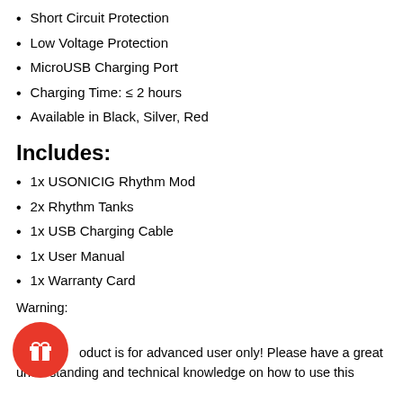Short Circuit Protection
Low Voltage Protection
MicroUSB Charging Port
Charging Time: ≤ 2 hours
Available in Black, Silver, Red
Includes:
1x USONICIG Rhythm Mod
2x Rhythm Tanks
1x USB Charging Cable
1x User Manual
1x Warranty Card
Warning:
oduct is for advanced user only! Please have a great understanding and technical knowledge on how to use this